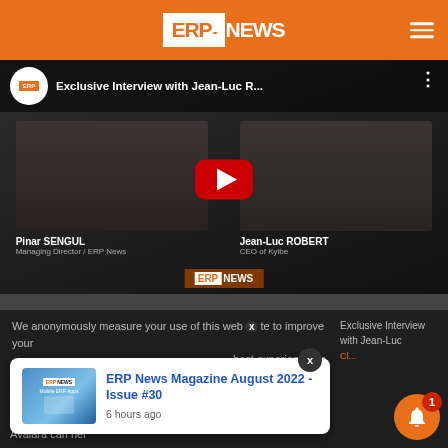ERP NEWS
[Figure (screenshot): YouTube video embed showing an exclusive interview with Jean-Luc Robert. Two people visible: Pinar SENGUL (Managing Director / ERP News) on the left and Jean-Luc ROBERT (CEO of Kyibe) on the right. A red YouTube play button is centered. ERP News logo visible at bottom of video.]
We anonymously measure your use of this website to improve your best experience on
[Figure (screenshot): Notification popup card showing ERP News Magazine thumbnail on left, with title 'ERP News Magazine August 2022 - Issue #30' in blue, and timestamp '6 hours ago'. Has an X close button.]
ERP News Magazine August 2022 - Issue #30
6 hours ago
Exclusive Interview with Jean-Luc
Avalara can hel